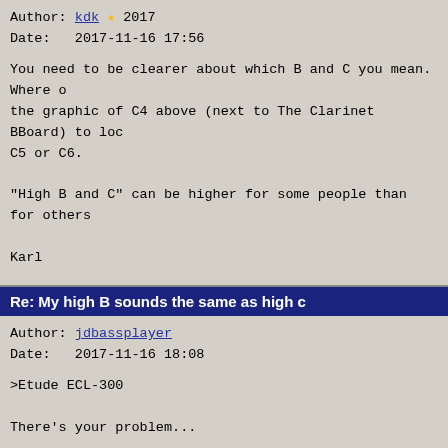Author: kdk ★ 2017
Date:   2017-11-16 17:56
You need to be clearer about which B and C you mean. Where o the graphic of C4 above (next to The Clarinet BBoard) to loc C5 or C6.

"High B and C" can be higher for some people than for others

Karl
Re: My high B sounds the same as high c
Author: jdbassplayer
Date:   2017-11-16 18:08
>Etude ECL-300

There's your problem...

But seriously, this instrument is well known to be a cheap g Instruments like this are known to have severe tuning proble an Etude but the exact same design. Even came in the same ca tone flat! The upper clarion B and C were also quite sharp o severity of yours.

I know you probably don't want to hear this but there really having the instrument completely re-bored. You should look i Fortunately you can pick up a Selmer(Bundy) or Vito student